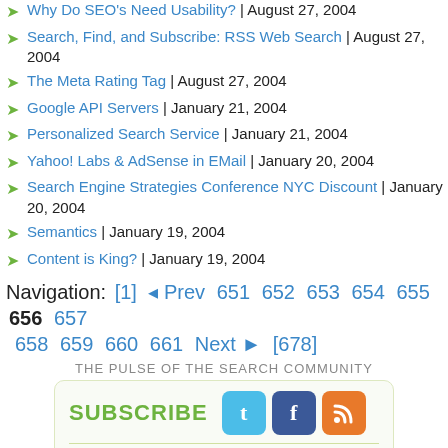Why Do SEO's Need Usability? | August 27, 2004
Search, Find, and Subscribe: RSS Web Search | August 27, 2004
The Meta Rating Tag | August 27, 2004
Google API Servers | January 21, 2004
Personalized Search Service | January 21, 2004
Yahoo! Labs & AdSense in EMail | January 20, 2004
Search Engine Strategies Conference NYC Discount | January 20, 2004
Semantics | January 19, 2004
Content is King? | January 19, 2004
Navigation: [1] Prev 651 652 653 654 655 656 657 658 659 660 661 Next [678]
THE PULSE OF THE SEARCH COMMUNITY
[Figure (infographic): Subscribe box with SUBSCRIBE label, Twitter, Facebook, RSS icons, email input field, Subscribe Now button, and SUBSCRIBE OPTIONS link]